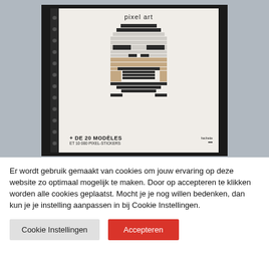[Figure (photo): Photo of a pixel art book cover showing a stormtrooper helmet made of pixel stickers, titled 'pixel art + DE 20 MODELES ET 10 000 PIXEL-STICKERS' by Hachette, spiral bound, photographed against a dark background with a light blue/grey outdoor background visible]
Er wordt gebruik gemaakt van cookies om jouw ervaring op deze website zo optimaal mogelijk te maken. Door op accepteren te klikken worden alle cookies geplaatst. Mocht je je nog willen bedenken, dan kun je je instelling aanpassen in bij Cookie Instellingen.